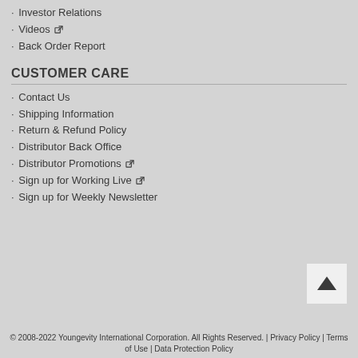Investor Relations
Videos
Back Order Report
CUSTOMER CARE
Contact Us
Shipping Information
Return & Refund Policy
Distributor Back Office
Distributor Promotions
Sign up for Working Live
Sign up for Weekly Newsletter
© 2008-2022 Youngevity International Corporation. All Rights Reserved. | Privacy Policy | Terms of Use | Data Protection Policy